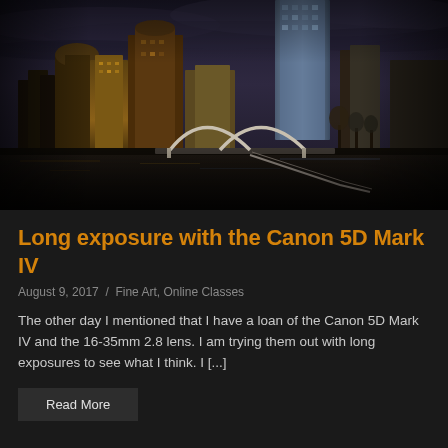[Figure (photo): Long exposure night cityscape photograph of Melbourne skyline with dramatic dark cloudy sky, illuminated skyscrapers including a tall glass tower, and a pedestrian arch bridge over a river in the foreground]
Long exposure with the Canon 5D Mark IV
August 9, 2017  /  Fine Art, Online Classes
The other day I mentioned that I have a loan of the Canon 5D Mark IV and the 16-35mm 2.8 lens. I am trying them out with long exposures to see what I think. I [...]
Read More